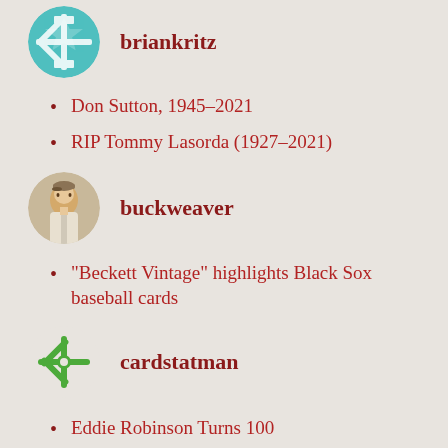[Figure (illustration): Teal snowflake/geometric pattern avatar for briankritz]
briankritz
Don Sutton, 1945–2021
RIP Tommy Lasorda (1927–2021)
[Figure (photo): Circular vintage baseball player photo for buckweaver]
buckweaver
“Beckett Vintage” highlights Black Sox baseball cards
[Figure (illustration): Green snowflake/asterisk logo avatar for cardstatman]
cardstatman
Eddie Robinson Turns 100
[Figure (illustration): Circular cartoon character avatar for Chad Osborne]
Chad Osborne